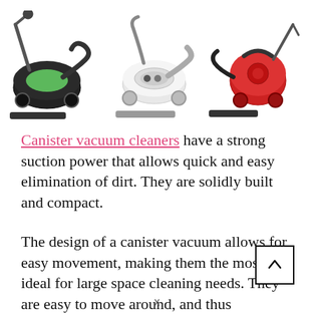[Figure (photo): Three canister vacuum cleaners shown side by side: a black and green one on the left, a white one in the middle, and a red one on the right.]
Canister vacuum cleaners have a strong suction power that allows quick and easy elimination of dirt. They are solidly built and compact.
The design of a canister vacuum allows for easy movement, making them the most ideal for large space cleaning needs. They are easy to move around, and thus sweeping different rooms is quick and easy.